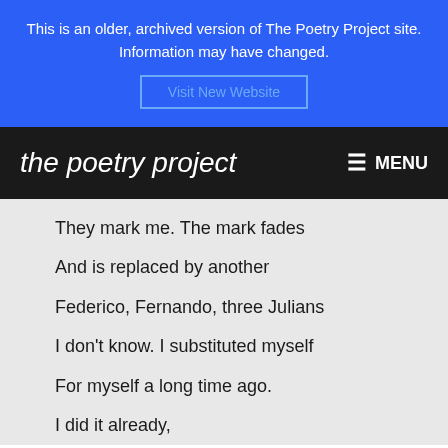This is an older, archived version of The Poetry Project site. Information may have changed.
Visit New Website
the poetry project  MENU
They mark me. The mark fades
And is replaced by another
Federico, Fernando, three Julians
I don't know. I substituted myself
For myself a long time ago.
I did it already,